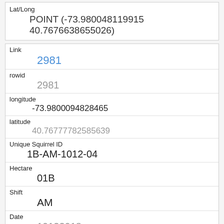| Field | Value |
| --- | --- |
| Lat/Long | POINT (-73.980048119915 40.7676638655026) |
| Link | 2981 |
| rowid | 2981 |
| longitude | -73.9800094828465 |
| latitude | 40.76777782585639 |
| Unique Squirrel ID | 1B-AM-1012-04 |
| Hectare | 01B |
| Shift | AM |
| Date | 10122018 |
| Hectare Squirrel Number | 4 |